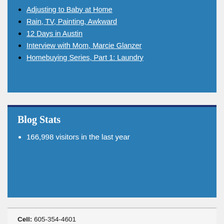Adjusting to Baby at Home
Rain, TV, Painting, Awkward
12 Days in Austin
Interview with Mom, Marcie Glanzer
Homebuying Series, Part 1: Laundry
Blog Stats
166,998 visitors in the last year
Cell: 605-354-4601